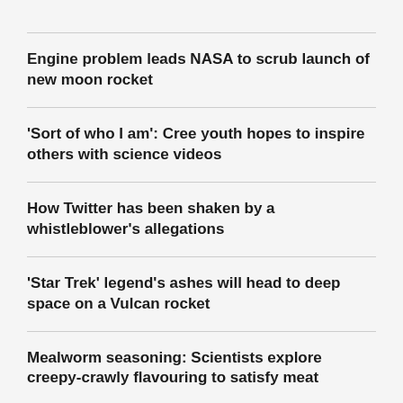Engine problem leads NASA to scrub launch of new moon rocket
'Sort of who I am': Cree youth hopes to inspire others with science videos
How Twitter has been shaken by a whistleblower's allegations
'Star Trek' legend's ashes will head to deep space on a Vulcan rocket
Mealworm seasoning: Scientists explore creepy-crawly flavouring to satisfy meat